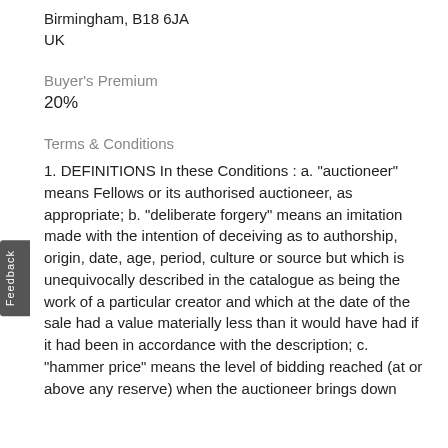Birmingham, B18 6JA
UK
Buyer's Premium
20%
Terms & Conditions
1. DEFINITIONS In these Conditions : a. "auctioneer" means Fellows or its authorised auctioneer, as appropriate; b. "deliberate forgery" means an imitation made with the intention of deceiving as to authorship, origin, date, age, period, culture or source but which is unequivocally described in the catalogue as being the work of a particular creator and which at the date of the sale had a value materially less than it would have had if it had been in accordance with the description; c. "hammer price" means the level of bidding reached (at or above any reserve) when the auctioneer brings down